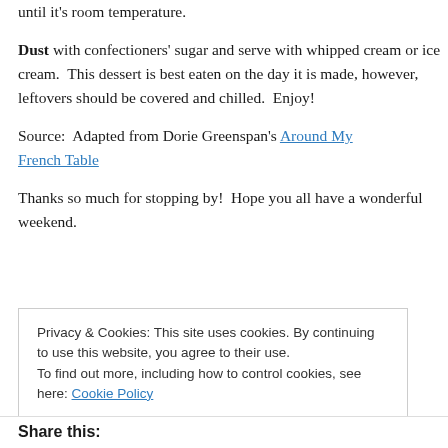until it's room temperature.
Dust with confectioners' sugar and serve with whipped cream or ice cream.  This dessert is best eaten on the day it is made, however, leftovers should be covered and chilled.  Enjoy!
Source:  Adapted from Dorie Greenspan's Around My French Table
Thanks so much for stopping by!  Hope you all have a wonderful weekend.
Privacy & Cookies: This site uses cookies. By continuing to use this website, you agree to their use.
To find out more, including how to control cookies, see here: Cookie Policy
Share this: